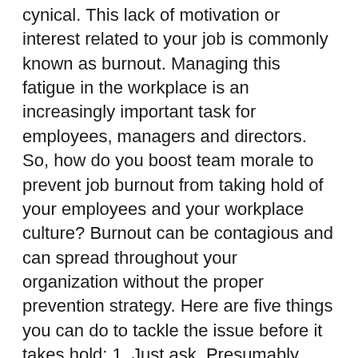cynical. This lack of motivation or interest related to your job is commonly known as burnout. Managing this fatigue in the workplace is an increasingly important task for employees, managers and directors. So, how do you boost team morale to prevent job burnout from taking hold of your employees and your workplace culture? Burnout can be contagious and can spread throughout your organization without the proper prevention strategy. Here are five things you can do to tackle the issue before it takes hold: 1. Just ask. Presumably, you're not a psychic, so asking your employees what's most challenging about their work experience and what could be done to mitigate those challenges is advisable. Open communication between various team members will slowly create the perfect environment for everybody inside the building. When people feel like they can talk about what's challenging without the fear of losing their jobs or being ostracized, they're more likely to share their thoughts. And as hard as that may be for you initially, it will only accelerate your